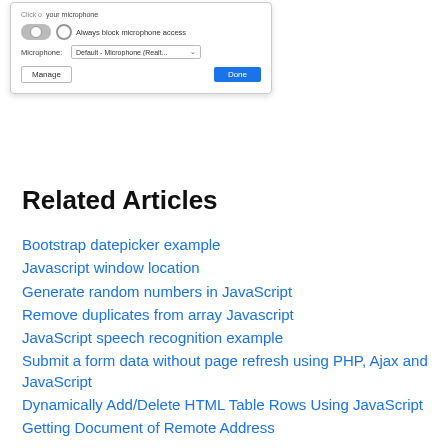[Figure (screenshot): Browser microphone settings dialog showing toggle, 'Always block microphone access' radio option, Microphone dropdown set to 'Default - Microphone (Realt...', and Manage/Done buttons]
Related Articles
Bootstrap datepicker example
Javascript window location
Generate random numbers in JavaScript
Remove duplicates from array Javascript
JavaScript speech recognition example
Submit a form data without page refresh using PHP, Ajax and JavaScript
Dynamically Add/Delete HTML Table Rows Using JavaScript
Getting Document of Remote Address